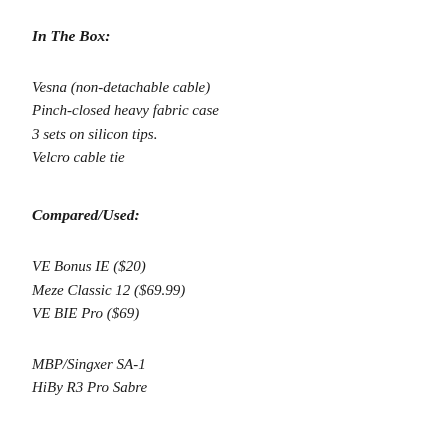In The Box:
Vesna (non-detachable cable)
Pinch-closed heavy fabric case
3 sets on silicon tips.
Velcro cable tie
Compared/Used:
VE Bonus IE ($20)
Meze Classic 12 ($69.99)
VE BIE Pro ($69)
MBP/Singxer SA-1
HiBy R3 Pro Sabre